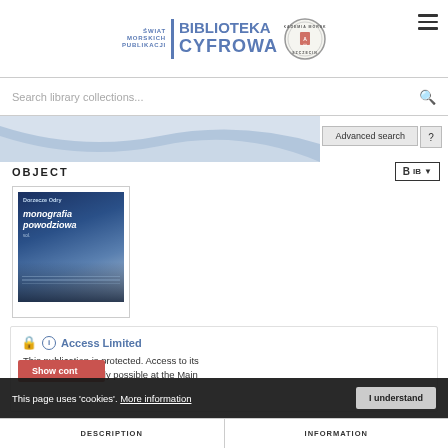[Figure (logo): Świat Morskich Publikacji – Biblioteka Cyfrowa logo with Akademia Morska Szczecin circular seal and hamburger menu icon]
Search library collections...
Advanced search ?
OBJECT
[Figure (illustration): Book cover: Dorzecze Odry – monografia powodziowa, blue/grey tones with water imagery]
Access Limited
This publication is protected. Access to its digital version is only possible at the Main Univ...n
Show content
This page uses 'cookies'. More information   I understand
DESCRIPTION   INFORMATION